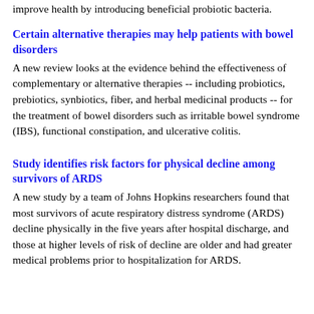improve health by introducing beneficial probiotic bacteria.
Certain alternative therapies may help patients with bowel disorders
A new review looks at the evidence behind the effectiveness of complementary or alternative therapies -- including probiotics, prebiotics, synbiotics, fiber, and herbal medicinal products -- for the treatment of bowel disorders such as irritable bowel syndrome (IBS), functional constipation, and ulcerative colitis.
Study identifies risk factors for physical decline among survivors of ARDS
A new study by a team of Johns Hopkins researchers found that most survivors of acute respiratory distress syndrome (ARDS) decline physically in the five years after hospital discharge, and those at higher levels of risk of decline are older and had greater medical problems prior to hospitalization for ARDS.